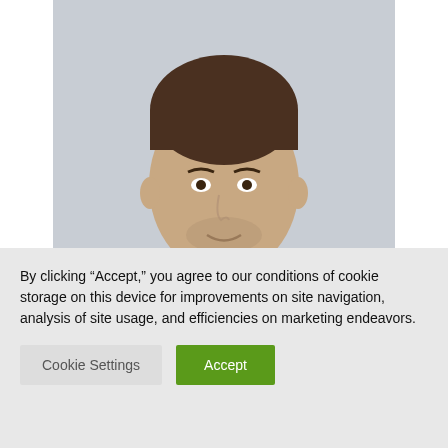[Figure (photo): Professional headshot of a man in a navy blue suit with a black tie and light blue shirt, photographed against a light gray background. The image is cropped at the torso.]
Submit a Comment
Your email address will not be published.
Required fields are marked *
By clicking “Accept,” you agree to our conditions of cookie storage on this device for improvements on site navigation, analysis of site usage, and efficiencies on marketing endeavors.
Cookie Settings
Accept